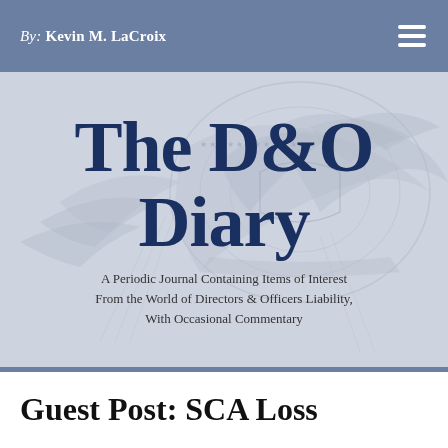By: Kevin M. LaCroix
[Figure (illustration): The D&O Diary hero banner with decorative eagle/seal watermark background. Large serif title 'The D&O Diary' in dark navy. Subtitle: 'A Periodic Journal Containing Items of Interest From the World of Directors & Officers Liability, With Occasional Commentary']
Guest Post: SCA Loss